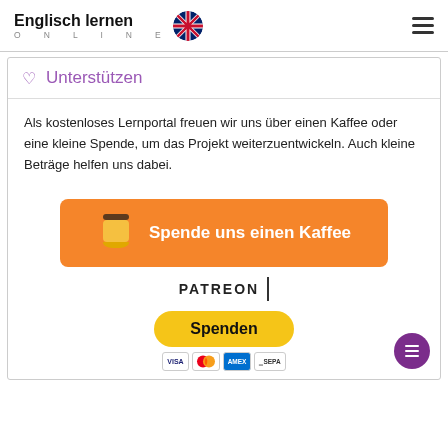Englisch lernen ONLINE
♡  Unterstützen
Als kostenloses Lernportal freuen wir uns über einen Kaffee oder eine kleine Spende, um das Projekt weiterzuentwickeln. Auch kleine Beträge helfen uns dabei.
[Figure (illustration): Orange button with coffee cup icon and text 'Spende uns einen Kaffee']
[Figure (logo): Patreon logo text with vertical bar]
[Figure (illustration): Yellow PayPal Spenden button with payment icons: VISA, Mastercard, American Express, SEPA]